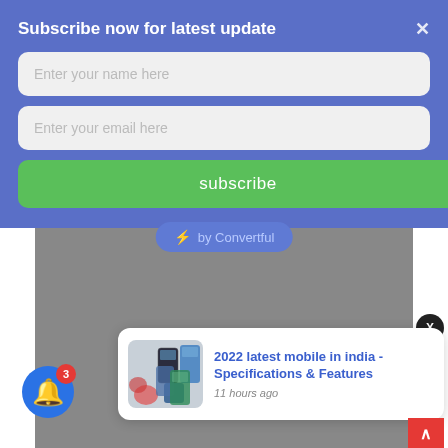Subscribe now for latest update
Enter your name here
Enter your email here
subscribe
⚡ by Convertful
[Figure (screenshot): Gray advertisement/content area background]
2022 latest mobile in india - Specifications & Features
11 hours ago
3
X